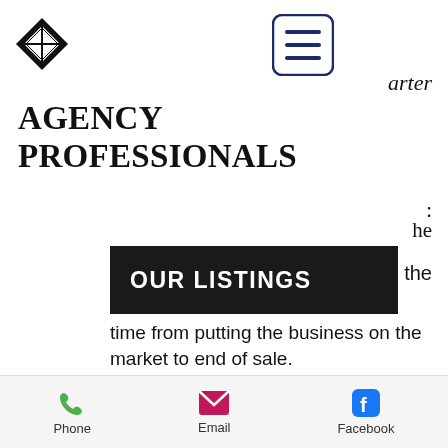[Figure (logo): Diamond/compass rose logo in black]
[Figure (illustration): Hamburger menu button with three horizontal lines in navy blue, rounded rectangle border]
arter
AGENCY PROFESSIONALS
he
OUR LISTINGS
the
time from putting the business on the market to end of sale.
It may take longer to sell if your business needs work prior to putting on the market.  This is sometimes called “exit planning” and includes
Phone  Email  Facebook